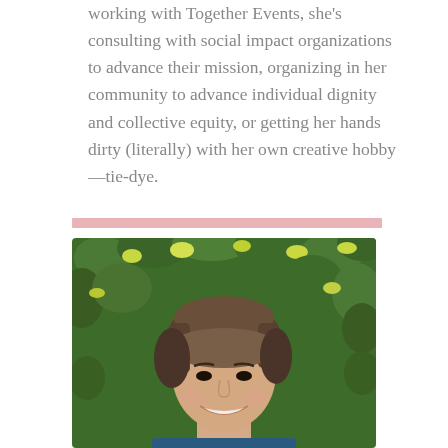working with Together Events, she's consulting with social impact organizations to advance their mission, organizing in her community to advance individual dignity and collective equity, or getting her hands dirty (literally) with her own creative hobby—tie-dye.
[Figure (photo): Portrait photo of a person with short brown hair smiling, set against a background of green leaves and yellow-green flowers.]